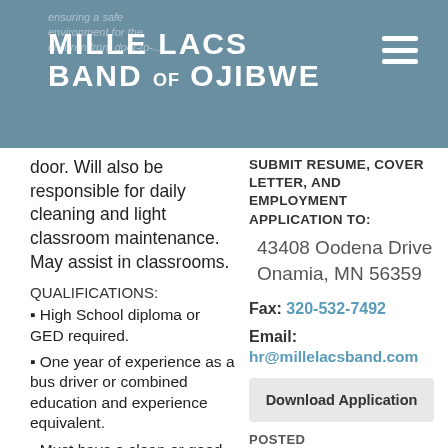Mille Lacs Band of Ojibwe
door. Will also be responsible for daily cleaning and light classroom maintenance. May assist in classrooms.
QUALIFICATIONS:
High School diploma or GED required.
One year of experience as a bus driver or combined education and experience equivalent.
Must have a clean or good driving record with
SUBMIT RESUME, COVER LETTER, AND EMPLOYMENT APPLICATION TO:
43408 Oodena Drive
Onamia, MN 56359
Fax: 320-532-7492
Email: hr@millelacsband.com
Download Application
POSTED